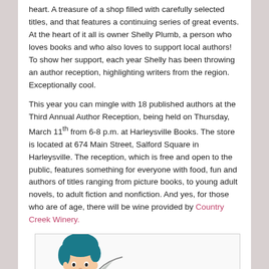heart.  A treasure of a shop filled with carefully selected titles, and that features a continuing series of great events. At the heart of it all is owner Shelly Plumb, a person who loves books and who also loves to support local authors!  To show her support, each year Shelly has been throwing an author reception, highlighting writers from the region.  Exceptionally cool.
This year you can mingle with 18 published authors at the Third Annual Author Reception, being held on Thursday, March 11th from 6-8 p.m. at Harleysville Books. The store is located at 674 Main Street, Salford Square in Harleysville.  The reception, which is free and open to the public, features something for everyone with food, fun and authors of titles ranging from picture books, to young adult novels, to adult fiction and nonfiction.  And yes, for those who are of age, there will be wine provided by Country Creek Winery.
[Figure (illustration): Partial illustration of a cartoon character (person with dark teal hair) visible at bottom of page inside a bordered box]